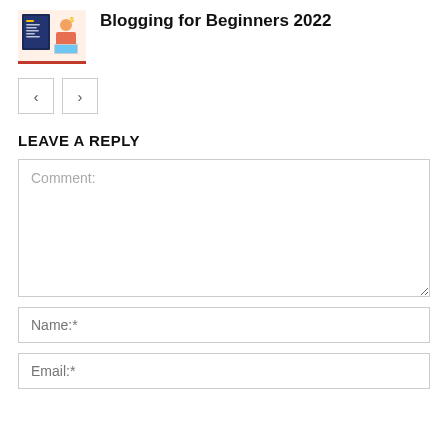[Figure (illustration): Book cover thumbnail for 'Make Money Blogging for Beginners' with colorful graphic design elements]
Blogging for Beginners 2022
[Figure (other): Navigation prev/next arrow buttons]
LEAVE A REPLY
Comment:
Name:*
Email:*